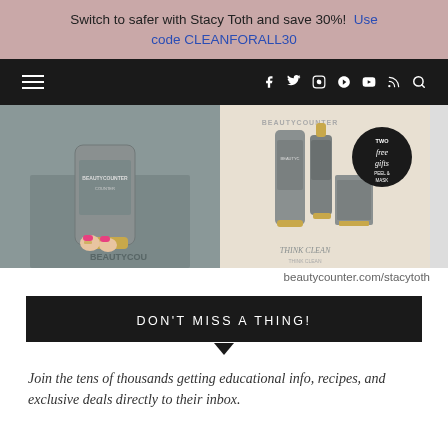Switch to safer with Stacy Toth and save 30%! Use code CLEANFORALL30
[Figure (screenshot): Website navigation bar with hamburger menu, social media icons (Facebook, Twitter, Instagram, Pinterest, YouTube, RSS), and search icon on dark background]
[Figure (photo): Two product photos side by side: left shows a woman holding a Beautycounter product tube in gray/gold; right shows a Beautycounter skincare set with 'Two free gifts Peel & Mask' badge and 'Think Clean' text]
beautycounter.com/stacytoth
DON'T MISS A THING!
Join the tens of thousands getting educational info, recipes, and exclusive deals directly to their inbox.